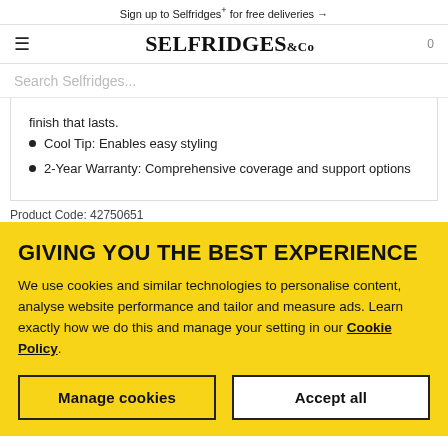Sign up to Selfridges+ for free deliveries →
SELFRIDGES & Co  0
Search Selfridges...
finish that lasts.
Cool Tip: Enables easy styling
2-Year Warranty: Comprehensive coverage and support options
Product Code: 42750651
GIVING YOU THE BEST EXPERIENCE
We use cookies and similar technologies to personalise content, analyse website performance and tailor and measure ads. Learn exactly how we do this and manage your setting in our Cookie Policy.
Manage cookies
Accept all